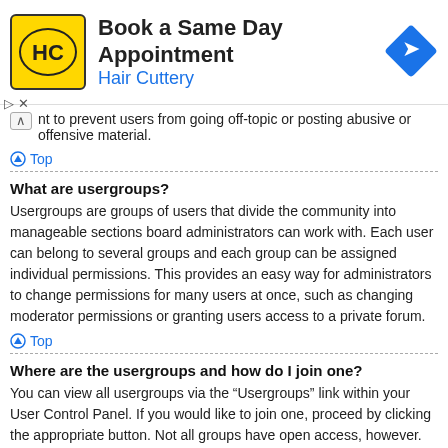[Figure (infographic): Hair Cuttery advertisement banner: HC logo on yellow background, text 'Book a Same Day Appointment / Hair Cuttery', blue arrow road sign icon on right]
nt to prevent users from going off-topic or posting abusive or offensive material.
⬆ Top
What are usergroups?
Usergroups are groups of users that divide the community into manageable sections board administrators can work with. Each user can belong to several groups and each group can be assigned individual permissions. This provides an easy way for administrators to change permissions for many users at once, such as changing moderator permissions or granting users access to a private forum.
⬆ Top
Where are the usergroups and how do I join one?
You can view all usergroups via the “Usergroups” link within your User Control Panel. If you would like to join one, proceed by clicking the appropriate button. Not all groups have open access, however. Some may require approval to join, some may be closed and some may even have hidden memberships. If the group is open, you can join it by clicking the appropriate button. If a group requires